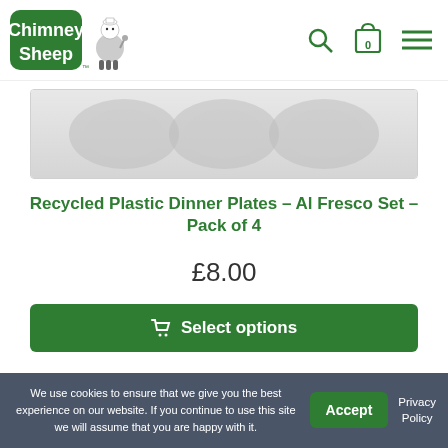[Figure (logo): Chimney Sheep logo with cartoon sheep mascot and green text]
[Figure (photo): Product image area showing recycled plastic dinner plates, partially visible]
Recycled Plastic Dinner Plates – Al Fresco Set – Pack of 4
£8.00
Select options
We use cookies to ensure that we give you the best experience on our website. If you continue to use this site we will assume that you are happy with it.
Accept
Privacy Policy